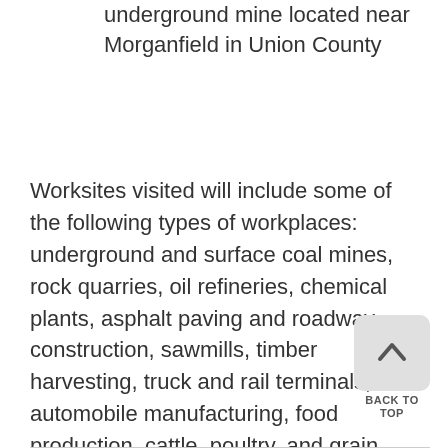underground mine located near Morganfield in Union County
Worksites visited will include some of the following types of workplaces: underground and surface coal mines, rock quarries, oil refineries, chemical plants, asphalt paving and roadway construction, sawmills, timber harvesting, truck and rail terminals, automobile manufacturing, food production, cattle, poultry, and grain farms, small manufacturing companies, hospitals, and law enforcement investigation sites.